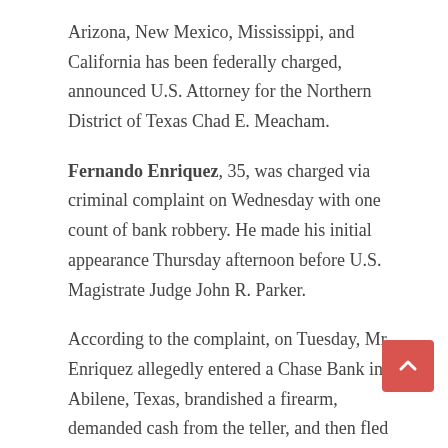Arizona, New Mexico, Mississippi, and California has been federally charged, announced U.S. Attorney for the Northern District of Texas Chad E. Meacham.
Fernando Enriquez, 35, was charged via criminal complaint on Wednesday with one count of bank robbery. He made his initial appearance Thursday afternoon before U.S. Magistrate Judge John R. Parker.
According to the complaint, on Tuesday, Mr. Enriquez allegedly entered a Chase Bank in Abilene, Texas, brandished a firearm, demanded cash from the teller, and then fled the scene.
The teller, who activated her silent alarm during the robbery, later described the suspect as a heavy-set Hispanic man wearing a face mask, grey hoodie, jeans, and a baseball cap.